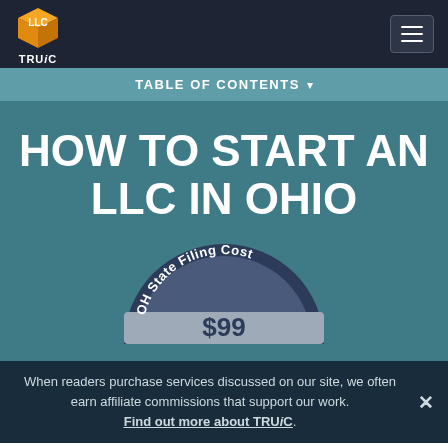[Figure (logo): TRUiC logo — orange/yellow 3D cube with 'LLC' letters and 'TRUiC' text below]
TABLE OF CONTENTS ▾
HOW TO START AN LLC IN OHIO
[Figure (infographic): Semicircular badge/shield graphic with dark navy background. Curved top text reads 'OH State Filing Cost', center displays '$99' in large text on a gray/silver band.]
When readers purchase services discussed on our site, we often earn affiliate commissions that support our work. Find out more about TRUiC.